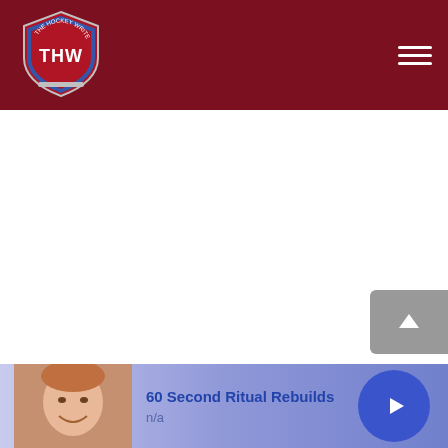THW - The Hockey Writers
[Figure (logo): THW hockey writers shield logo with text THW in blue and red shield]
[Figure (other): Hamburger navigation menu icon, three white horizontal lines]
[Figure (other): Scroll to top button, grey rounded rectangle with upward arrow]
[Figure (other): Advertisement banner with thumbnail photo of a smiling woman, text 60 Second Ritual Rebuilds and n/a label, blue play button]
60 Second Ritual Rebuilds
n/a